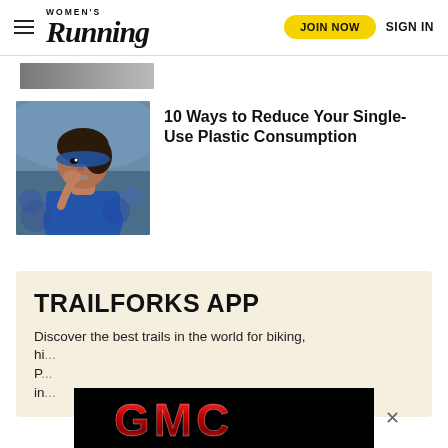women's Running | JOIN NOW | SIGN IN
[Figure (photo): Partial cropped image at top of page, a photo strip]
[Figure (photo): Woman wearing blue headband and blue hoodie, drinking from a small packet during a race]
10 Ways to Reduce Your Single-Use Plastic Consumption
TRAILFORKS APP
Discover the best trails in the world for biking, hiking, hiking, snowshoeing with Trailforks...
[Figure (logo): GMC advertisement banner on black background with red metallic GMC lettering, with X close button]